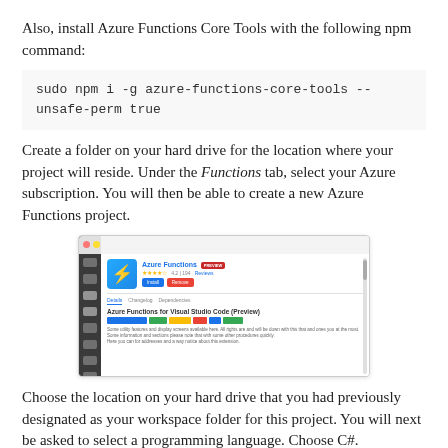Also, install Azure Functions Core Tools with the following npm command:
Create a folder on your hard drive for the location where your project will reside. Under the Functions tab, select your Azure subscription. You will then be able to create a new Azure Functions project.
[Figure (screenshot): Screenshot of the Azure Functions extension page in Visual Studio Code, showing the extension icon, name, rating, install/remove buttons, and extension description.]
Choose the location on your hard drive that you had previously designated as your workspace folder for this project. You will next be asked to select a programming language. Choose C#.